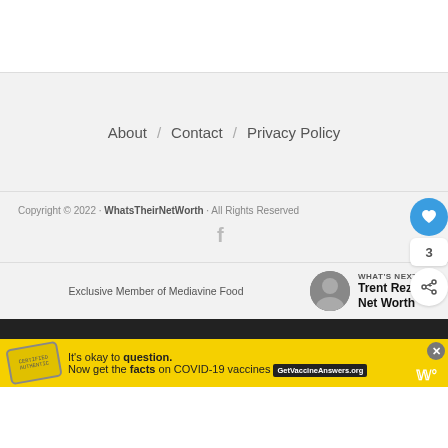About / Contact / Privacy Policy
Copyright © 2022 · WhatsTheirNetWorth · All Rights Reserved
[Figure (other): Facebook icon]
[Figure (other): Heart/like button (blue circle), count 3, share button]
Exclusive Member of Mediavine Food
WHAT'S NEXT → Trent Reznor Net Worth
It's okay to question. Now get the facts on COVID-19 vaccines GetVaccineAnswers.org